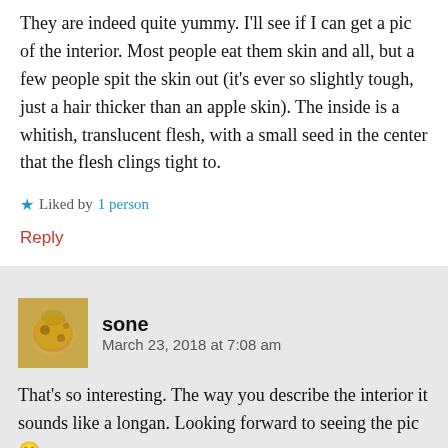They are indeed quite yummy. I'll see if I can get a pic of the interior. Most people eat them skin and all, but a few people spit the skin out (it's ever so slightly tough, just a hair thicker than an apple skin). The inside is a whitish, translucent flesh, with a small seed in the center that the flesh clings tight to.
★ Liked by 1 person
Reply
sone  March 23, 2018 at 7:08 am
That's so interesting. The way you describe the interior it sounds like a longan. Looking forward to seeing the pic 🙂